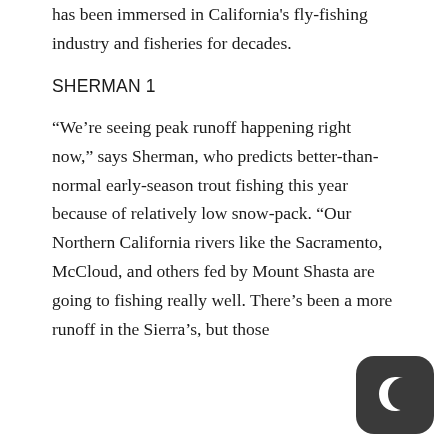has been immersed in California's fly-fishing industry and fisheries for decades.
SHERMAN 1
“We’re seeing peak runoff happening right now,” says Sherman, who predicts better-than-normal early-season trout fishing this year because of relatively low snow-pack. “Our Northern California rivers like the Sacramento, McCloud, and others fed by Mount Shasta are going to fishing really well. There’s been a more runoff in the Sierra’s, but those